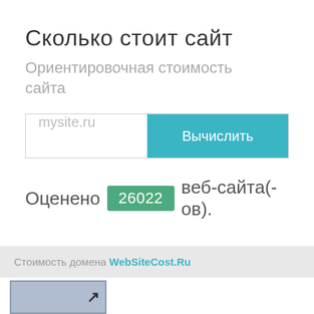Сколько стоит сайт
Ориентировочная стоимость сайта
[Figure (screenshot): Web form with text input field showing placeholder 'mysite.ru' and a teal button labeled 'Вычислить']
Оценено 26022 веб-сайта(-ов).
Стоимость домена WebSiteCost.Ru
[Figure (other): Thumbnail box with arrow icon]